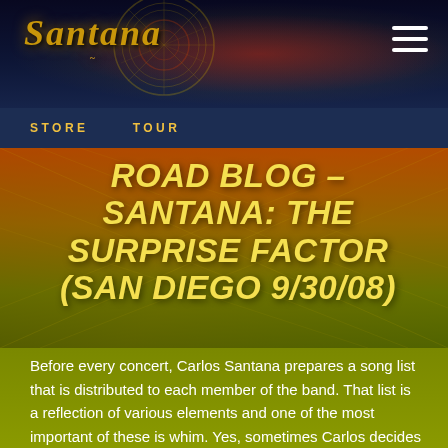SANTANA
STORE   TOUR
[Figure (illustration): Background hero image with decorative mandala/Aztec wheel patterns and gradient overlay in orange, red, and yellow-green tones]
ROAD BLOG – SANTANA: THE SURPRISE FACTOR (SAN DIEGO 9/30/08)
Before every concert, Carlos Santana prepares a song list that is distributed to each member of the band. That list is a reflection of various elements and one of the most important of these is whim. Yes, sometimes Carlos decides to play a particular song simply because he's in that kind of mood, or, not unusually, because someone during the day has suggested